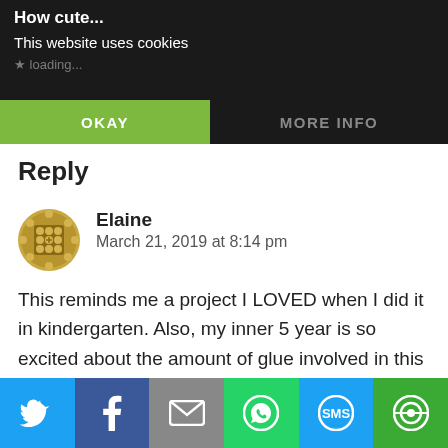How cute...
This website uses cookies
★ loading...
OKAY
MORE INFO
Reply
Elaine
March 21, 2019 at 8:14 pm
This reminds me a project I LOVED when I did it in kindergarten. Also, my inner 5 year is so excited about the amount of glue involved in this project. I would purposely squirt glue all